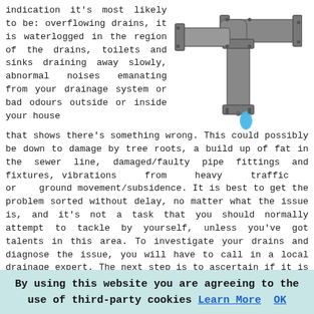indication it's most likely to be: overflowing drains, it is waterlogged in the region of the drains, toilets and sinks draining away slowly, abnormal noises emanating from your drainage system or bad odours outside or inside your house that shows there's something wrong. This could possibly be down to damage by tree roots, a build up of fat in the sewer line, damaged/faulty pipe fittings and fixtures, vibrations from heavy traffic or ground movement/subsidence. It is best to get the problem sorted without delay, no matter what the issue is, and it's not a task that you should normally attempt to tackle by yourself, unless you've got talents in this area. To investigate your drains and diagnose the issue, you will have to call in a local drainage expert. The next step is to ascertain if it is your responsibility or somebody else's, and decide what to do moving forward. One thing which you should not do is disregard it and pray that it goes away by itself (which it won't!). (Tags: Drain Problems Ryton, Problems With Drains, Drain Repairs Ryton)
[Figure (illustration): Illustration of grey plumbing pipes with a dripping blue water droplet]
By using this website you are agreeing to the use of third-party cookies Learn More OK